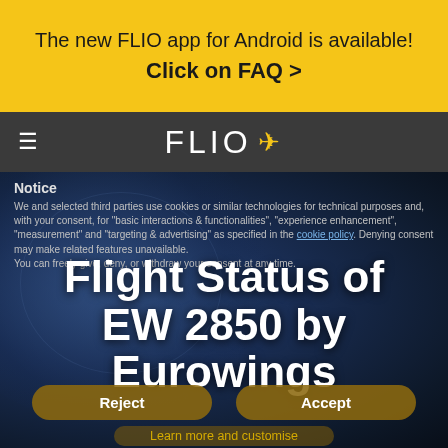The new FLIO app for Android is available!
Click on FAQ >
≡ FLIO ✈
Notice
We and selected third parties use cookies or similar technologies for technical purposes and, with your consent, for "basic interactions & functionalities", "experience enhancement", "measurement" and "targeting & advertising" as specified in the cookie policy. Denying consent may make related features unavailable. You can freely give, deny, or withdraw your consent at any time.
Flight Status of EW 2850 by Eurowings
Reject
Accept
Learn more and customise